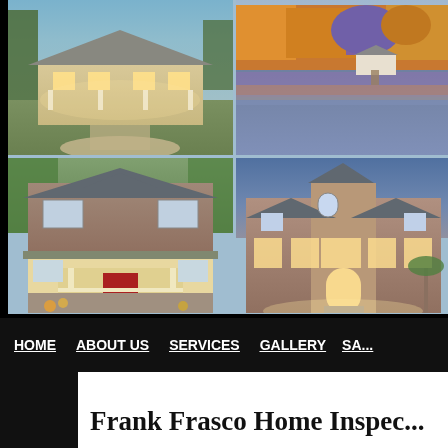[Figure (photo): 2x2 grid of house photos: top-left is a white colonial home lit at dusk with a long driveway; top-right is a lakeside scene with fall foliage reflecting in water; bottom-left is a craftsman-style two-story house with a red door; bottom-right is a large luxury brick mansion illuminated at dusk.]
HOME   ABOUT US   SERVICES   GALLERY   SA...
Frank Frasco Home Inspec...